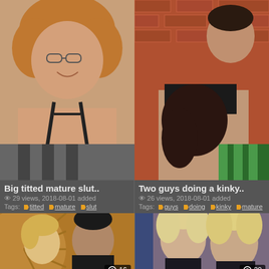[Figure (photo): Mature woman with glasses and curly red hair in black bikini top]
[Figure (photo): Two people in intimate scene against brick wall background]
Big titted mature slut..
29 views, 2018-08-01 added
Tags: titted mature slut
Two guys doing a kinky..
26 views, 2018-08-01 added
Tags: guys doing kinky mature
[Figure (photo): Blonde woman with young man, photo count badge showing 16]
[Figure (photo): Two blonde older women posing, photo count badge showing 20]